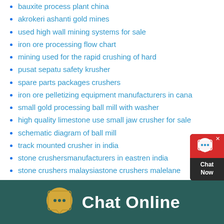bauxite process plant china
akrokeri ashanti gold mines
used high wall mining systems for sale
iron ore processing flow chart
mining used for the rapid crushing of hard
pusat sepatu safety krusher
spare parts packages crushers
iron ore pelletizing equipment manufacturers in cana
small gold processing ball mill with washer
high quality limestone use small jaw crusher for sale
schematic diagram of ball mill
track mounted crusher in india
stone crushersmanufacturers in eastren india
stone crushers malaysiastone crushers malelane
gravel suppliers in abu dhabi
minggong mineral processing spiral classifier
[Figure (infographic): Chat Online footer bar with speech bubble icon on dark teal background]
[Figure (infographic): Chat Now widget on right side with red header and dark body]